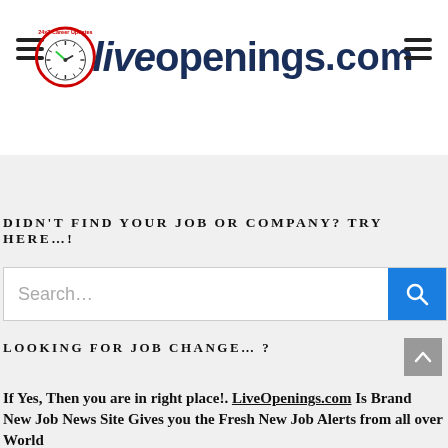LiveOpenings.com
DIDN'T FIND YOUR JOB OR COMPANY? TRY HERE…!
Search…
LOOKING FOR JOB CHANGE… ?
If Yes,  Then you are in right place!. LiveOpenings.com Is Brand New Job News Site Gives you the Fresh New Job Alerts from all over World